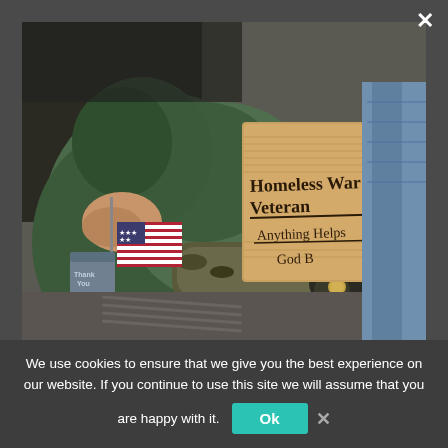[Figure (photo): A person lying on the ground wearing a green hoodie and camouflage gloves, holding a cardboard sign reading 'Homeless War Veteran / Anything Helps / God B...' with a small American flag and a tin can nearby.]
We use cookies to ensure that we give you the best experience on our website. If you continue to use this site we will assume that you are happy with it.